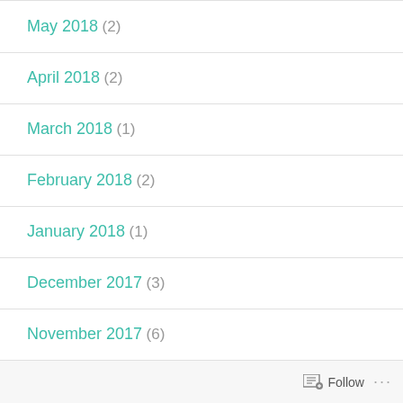May 2018 (2)
April 2018 (2)
March 2018 (1)
February 2018 (2)
January 2018 (1)
December 2017 (3)
November 2017 (6)
Follow ...